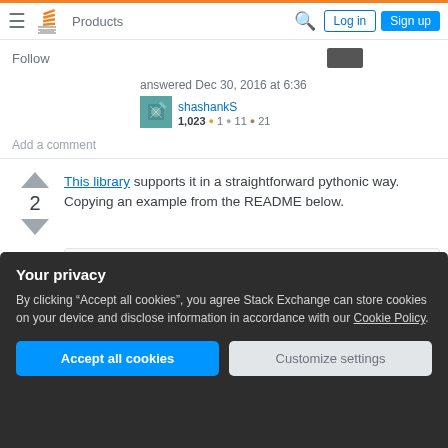≡  [Stack Overflow logo]  Products   🔍   Log in   Sign up
Follow
answered Dec 30, 2016 at 6:36
shashankS
1,023 ●1 ●11 ●21
Add a comment
This library supports it in a straightforward pythonic way. Copying an example from the README below.
from plum import dispatch
Your privacy
By clicking "Accept all cookies", you agree Stack Exchange can store cookies on your device and disclose information in accordance with our Cookie Policy.
Accept all cookies   Customize settings